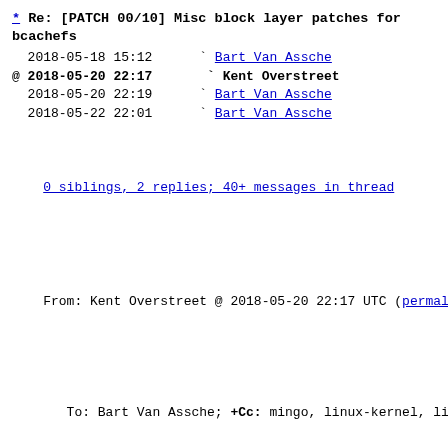* Re: [PATCH 00/10] Misc block layer patches for bcachefs
2018-05-18 15:12   ` Bart Van Assche
@ 2018-05-20 22:17    ` Kent Overstreet
  2018-05-20 22:19   ` Bart Van Assche
  2018-05-22 22:01   ` Bart Van Assche
0 siblings, 2 replies; 40+ messages in thread
From: Kent Overstreet @ 2018-05-20 22:17 UTC (permalink / raw)
To: Bart Van Assche; +Cc: mingo, linux-kernel, linux-mm, linux-block, axboe
On Fri, May 18, 2018 at 03:12:27PM +0000, Bart Van Assche wrote:
> On Fri, 2018-05-18 at 05:06 -0400, Kent Overstreet wrote:
> > On Thu, May 17, 2018 at 08:54:57PM +0000, Bart Van Assche wrote:
> > > With Jens' latest for-next branch I hit the kernel warning shown below. Can
> > > you have a look?
> >
> > Any hints on how to reproduce it?
>
> Sure. This is how I triggered it:
> * Clone https://github.com/bvanassche/srp-test.
> * Follow the instructions in README.md.
> * Run srp-test/run_tests -c -r 10